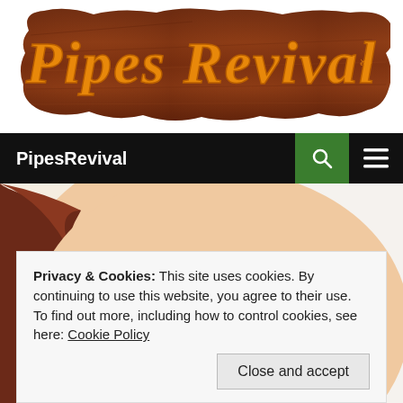[Figure (logo): Pipes Revival logo — decorative wooden board with ornate golden script text reading 'Pipes Revival']
PipesRevival
[Figure (photo): Close-up of a vintage illustrated woman's face with blue eyes, red earring and red lips, retro style]
Privacy & Cookies: This site uses cookies. By continuing to use this website, you agree to their use.
To find out more, including how to control cookies, see here: Cookie Policy
Close and accept